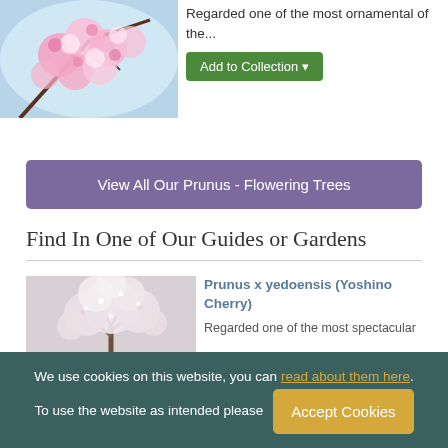[Figure (photo): Pink cherry blossom flowers close-up on branches]
Regarded one of the most ornamental of the...
Add to Collection
View All Our Prunus - Flowering Trees
Find In One of Our Guides or Gardens
[Figure (photo): Yoshino Cherry tree covered in white-pink blossoms]
Prunus x yedoensis (Yoshino Cherry)
Regarded one of the most spectacular
We use cookies on this website, you can read about them here. To use the website as intended please Accept Cookies